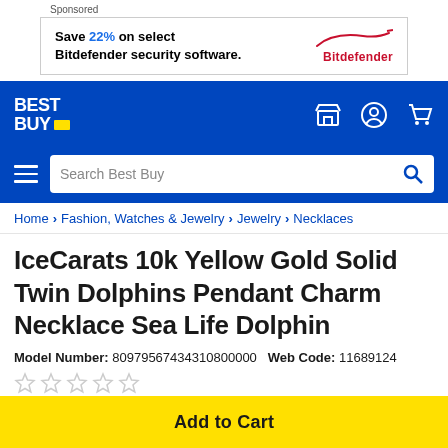Sponsored
[Figure (screenshot): Bitdefender advertisement banner: 'Save 22% on select Bitdefender security software.' with Bitdefender logo and swoosh graphic]
[Figure (screenshot): Best Buy navigation bar with logo, hamburger menu, search bar, store icon, account icon, and cart icon]
Home > Fashion, Watches & Jewelry > Jewelry > Necklaces
IceCarats 10k Yellow Gold Solid Twin Dolphins Pendant Charm Necklace Sea Life Dolphin
Model Number: 80979567434310800000   Web Code: 11689124
★☆☆☆☆ (empty stars rating)
Add to Cart